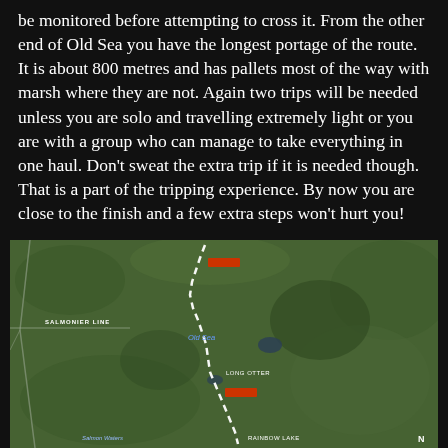be monitored before attempting to cross it. From the other end of Old Sea you have the longest portage of the route. It is about 800 metres and has pallets most of the way with marsh where they are not. Again two trips will be needed unless you are solo and travelling extremely light or you are with a group who can manage to take everything in one haul. Don't sweat the extra trip if it is needed though. That is a part of the tripping experience. By now you are close to the finish and a few extra steps won't hurt you!
[Figure (map): Aerial/satellite map showing a canoe route marked with a white dashed line. Labels visible include 'SALMONIER LINE' on the left, 'Old Sea' in blue text in the middle, 'LONG OTTER' label, and 'Salmon Waters' and 'RAINBOW LAKE' at the bottom. Red/orange markers indicate portages along the route.]